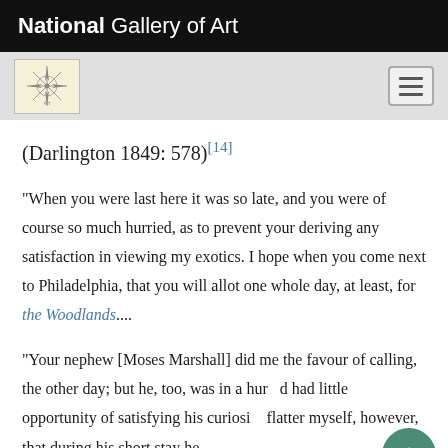National Gallery of Art
(Darlington 1849: 578)[14]
"When you were last here it was so late, and you were of course so much hurried, as to prevent your deriving any satisfaction in viewing my exotics. I hope when you come next to Philadelphia, that you will allot one whole day, at least, for the Woodlands....
"Your nephew [Moses Marshall] did me the favour of calling, the other day; but he, too, was in a hurried had little opportunity of satisfying his curiosity flatter myself, however, that during his short stay he